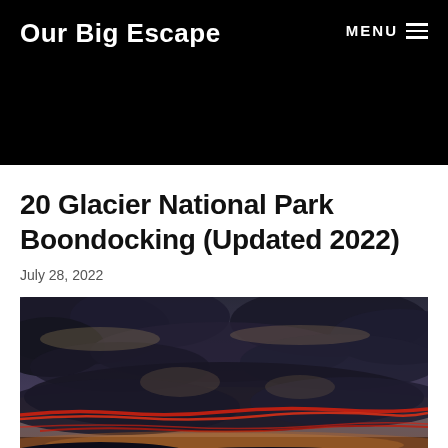Our Big Escape
20 Glacier National Park Boondocking (Updated 2022)
July 28, 2022
[Figure (photo): Dramatic sunset sky with dark storm clouds and vivid red and orange streaks of light along the horizon]